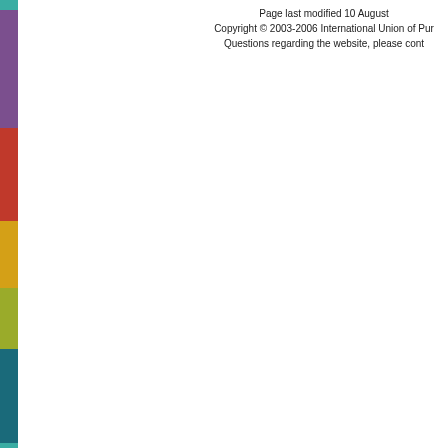[Figure (other): Vertical colored sidebar strip with segments: teal at top, purple/violet, red/crimson, goldenrod/yellow, olive/yellow-green, dark teal at bottom]
Page last modified 10 August
Copyright © 2003-2006 International Union of Pur
Questions regarding the website, please cont